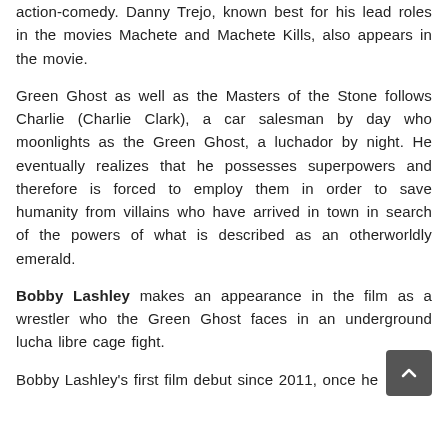action-comedy. Danny Trejo, known best for his lead roles in the movies Machete and Machete Kills, also appears in the movie.
Green Ghost as well as the Masters of the Stone follows Charlie (Charlie Clark), a car salesman by day who moonlights as the Green Ghost, a luchador by night. He eventually realizes that he possesses superpowers and therefore is forced to employ them in order to save humanity from villains who have arrived in town in search of the powers of what is described as an otherworldly emerald.
Bobby Lashley makes an appearance in the film as a wrestler who the Green Ghost faces in an underground lucha libre cage fight.
Bobby Lashley's first film debut since 2011, once he